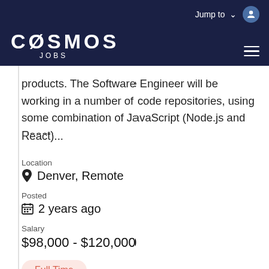[Figure (logo): Cosmos Jobs logo — white text on dark navy background with stylized slashed O in COSMOS and JOBS below]
products. The Software Engineer will be working in a number of code repositories, using some combination of JavaScript (Node.js and React)...
Location
Denver, Remote
Posted
2 years ago
Salary
$98,000 - $120,000
Full Time